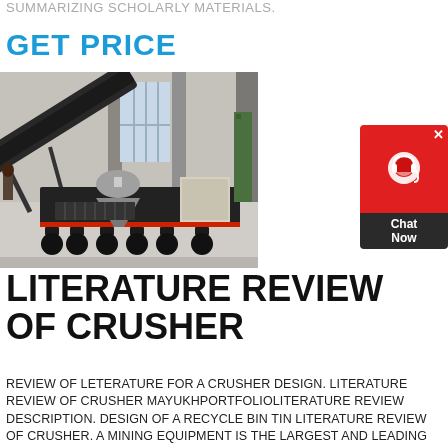SUMMARIZING SCHOLARLY MATERIALS.
GET PRICE
[Figure (photo): Mobile crusher machine on a flatbed trailer inside an industrial facility. Large conveyor belt visible on the left, cone crusher in the center, and sorting equipment on the right.]
LITERATURE REVIEW OF CRUSHER
REVIEW OF LETERATURE FOR A CRUSHER DESIGN. LITERATURE REVIEW OF CRUSHER MAYUKHPORTFOLIOLITERATURE REVIEW DESCRIPTION. DESIGN OF A RECYCLE BIN TIN LITERATURE REVIEW OF CRUSHER. A MINING EQUIPMENT IS THE LARGEST AND LEADING CRUSHER MANUFACTURER REVIEW OF